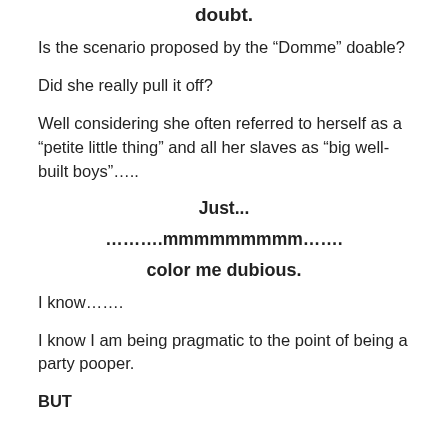doubt.
Is the scenario proposed by the “Domme” doable?
Did she really pull it off?
Well considering she often referred to herself as a “petite little thing” and all her slaves as “big well-built boys”…..
Just...
……….mmmmmmmmm…….
color me dubious.
I know…….
I know I am being pragmatic to the point of being a party pooper.
BUT